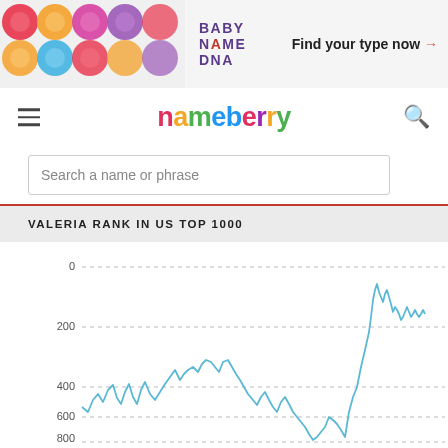[Figure (illustration): Baby Name DNA advertisement banner with colorful hexagonal pattern on the left, text 'BABY NAME DNA' in purple/red, and 'Find your type now →' on the right]
nameberry
Search a name or phrase
VALERIA RANK IN US TOP 1000
[Figure (line-chart): Line chart showing Valeria rank in US Top 1000 over time. Y-axis shows rank from 0 (top) to 800+ (bottom, inverted). The line starts around rank 700-800, fluctuates with peaks around 500-600 in the early period, reaches a peak around rank 350-400 in the middle period, then drops to around 600-800, before dramatically rising to near rank 100-150 at the right end, with the final value around 200-250.]